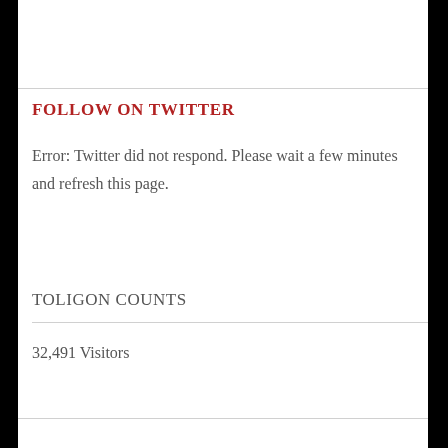FOLLOW ON TWITTER
Error: Twitter did not respond. Please wait a few minutes and refresh this page.
TOLIGON COUNTS
32,491 Visitors